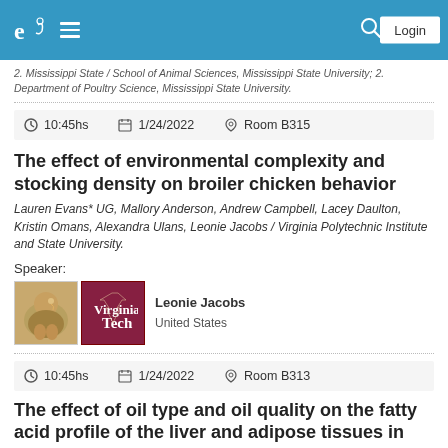Navigation bar with logo, menu, search, and Login button
2. Mississippi State / School of Animal Sciences, Mississippi State University; 2. Department of Poultry Science, Mississippi State University.
10:45hs    1/24/2022    Room B315
The effect of environmental complexity and stocking density on broiler chicken behavior
Lauren Evans* UG, Mallory Anderson, Andrew Campbell, Lacey Daulton, Kristin Omans, Alexandra Ulans, Leonie Jacobs / Virginia Polytechnic Institute and State University.
Speaker:
[Figure (photo): Broiler chicken photo and Virginia Tech logo]
Leonie Jacobs
United States
10:45hs    1/24/2022    Room B313
The effect of oil type and oil quality on the fatty acid profile of the liver and adipose tissues in 20-day-old